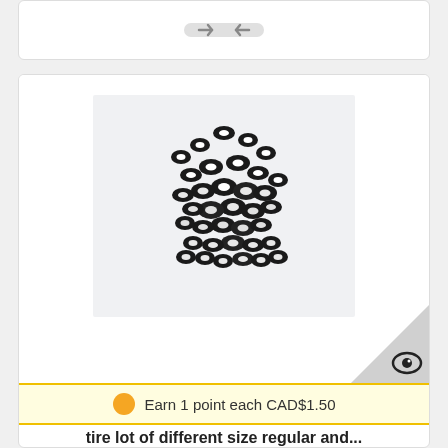[Figure (other): Top card with left-right arrow icon on grey pill/button shape]
[Figure (photo): Photo of a pile of black rubber o-rings with white washers in a clear plastic bag on a white background]
Earn 1 point each CAD$1.50
tire lot of different size regular and...
CAD$59.84  CAD$62.99  -5%